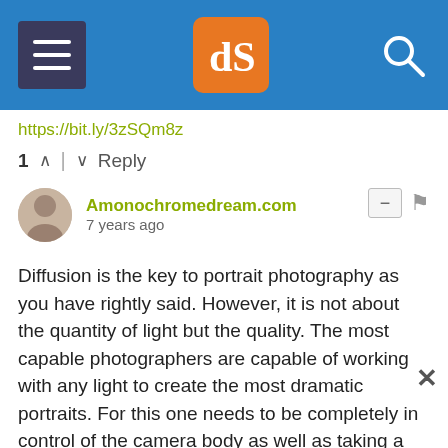[Figure (screenshot): Website header bar with menu icon, dPS orange logo badge, and search icon on blue background]
https://bit.ly/3zSQm8z
1 ↑ | ↓ Reply
Amonochromedream.com
7 years ago
Diffusion is the key to portrait photography as you have rightly said. However, it is not about the quantity of light but the quality. The most capable photographers are capable of working with any light to create the most dramatic portraits. For this one needs to be completely in control of the camera body as well as taking a detailed study of some of the great portrait photographers from past and present. Off camera flash with a diffuser leads to much better separation of the subject from the background, however, too many of today's photographers just go for flash with a diffuser when the light is low. The humble reflector is a fantastic tool, it is cheap, does not require batteri…